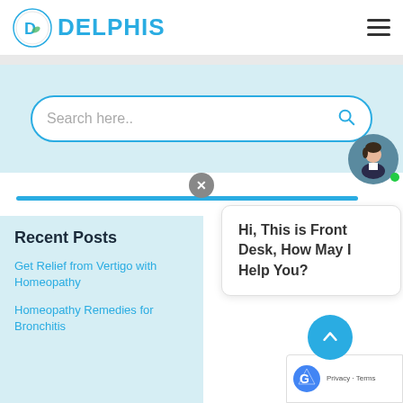[Figure (logo): Delphis complementary medicine logo with circular emblem and blue DELPHIS text]
[Figure (screenshot): Search bar with 'Search here..' placeholder and blue search icon, on light teal background]
[Figure (illustration): Chat avatar - female figure with dark hair in circular frame with green online indicator dot]
Hi, This is Front Desk, How May I Help You?
Recent Posts
Get Relief from Vertigo with Homeopathy
Homeopathy Remedies for Bronchitis
[Figure (illustration): reCAPTCHA badge with Privacy and Terms links]